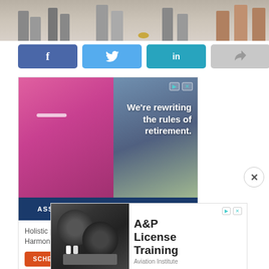[Figure (photo): Cropped photo showing people standing, visible from waist/knees down, on a floor. Multiple individuals with various shoes and attire.]
[Figure (infographic): Social sharing button bar with Facebook (blue), Twitter (light blue), LinkedIn (teal), and a share/forward button (gray).]
[Figure (photo): Advertisement for Tribute at Melford assisted living. Top half shows elderly woman painting with text 'We're rewriting the rules of retirement.' Below is a dark blue bar reading 'ASSISTED LIVING & MEMORY CARE'. Bottom section shows tagline 'Holistic programs. Harmonious lifestyle.' with Tribute at Melford logo and orange 'SCHEDULE A TOUR' button.]
[Figure (photo): Advertisement for A&P License Training by Aviation Institute. Left side shows photo of aircraft jet engines with workers. Right side shows bold text 'A&P License Training' with 'Aviation Institute' below and a black 'Open' button.]